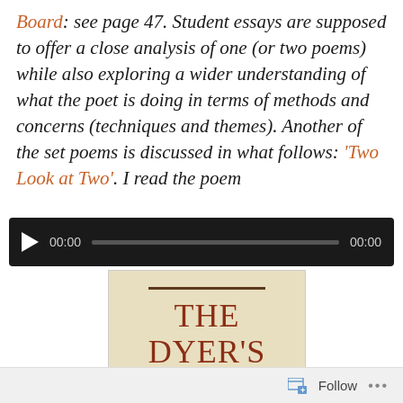Board: see page 47. Student essays are supposed to offer a close analysis of one (or two poems) while also exploring a wider understanding of what the poet is doing in terms of methods and concerns (techniques and themes). Another of the set poems is discussed in what follows: 'Two Look at Two'. I read the poem
[Figure (screenshot): Audio player widget showing play button, timestamp 00:00, progress bar, and end timestamp 00:00 on a dark background]
[Figure (photo): Book cover of 'The Dyer's Hand and Other Essays' with cream/beige background, dark horizontal line, red title text, and subtitle in small caps]
Follow ...